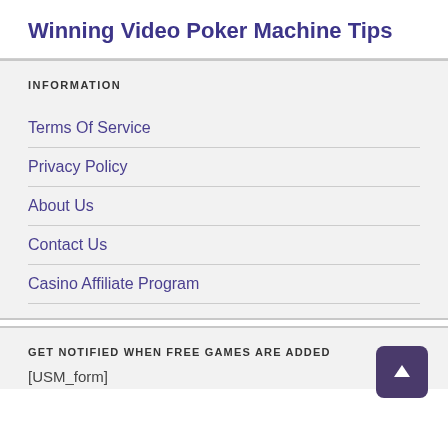Winning Video Poker Machine Tips
INFORMATION
Terms Of Service
Privacy Policy
About Us
Contact Us
Casino Affiliate Program
GET NOTIFIED WHEN FREE GAMES ARE ADDED
[USM_form]